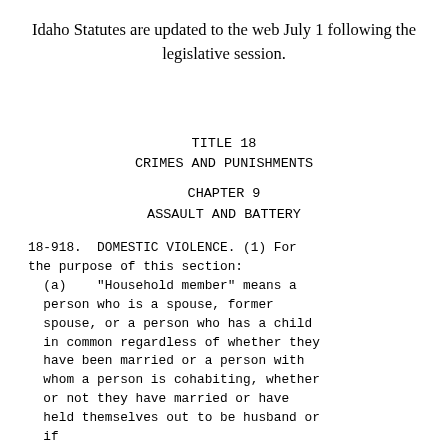Idaho Statutes are updated to the web July 1 following the legislative session.
TITLE 18
CRIMES AND PUNISHMENTS
CHAPTER 9
ASSAULT AND BATTERY
18-918.  DOMESTIC VIOLENCE. (1) For the purpose of this section:
  (a)   "Household member" means a person who is a spouse, former spouse, or a person who has a child in common regardless of whether they have been married or a person with whom a person is cohabiting, whether or not they have married or have held themselves out to be husband or if...